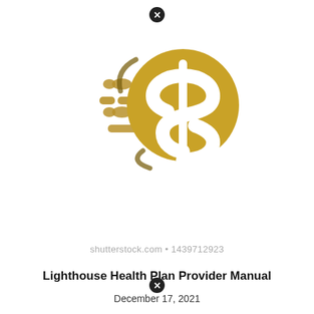[Figure (logo): Gold coin with dollar sign and speed motion lines, Shutterstock stock image logo]
shutterstock.com • 1439712923
Lighthouse Health Plan Provider Manual
December 17, 2021